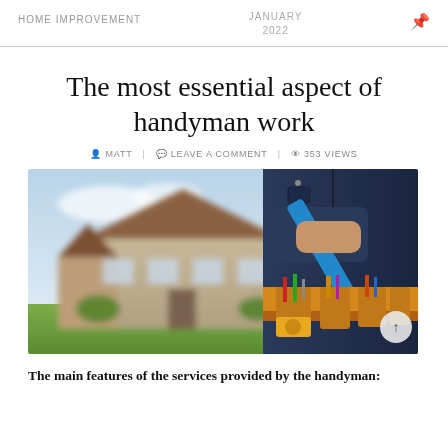HOME IMPROVEMENT | JANUARY 2022
The most essential aspect of handyman work
MATT | LEAVE A COMMENT | 353 VIEWS
[Figure (photo): A handyman holding a blue pipe/tool with a tool belt full of tools, with a blurred house and green lawn in the background.]
The main features of the services provided by the handyman: